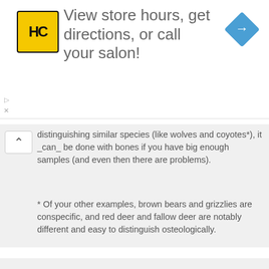[Figure (other): Advertisement banner: HC logo (yellow square with HC letters), text 'View store hours, get directions, or call your salon!', blue diamond arrow icon on right]
distinguishing similar species (like wolves and coyotes*), it _can_ be done with bones if you have big enough samples (and even then there are problems).
* Of your other examples, brown bears and grizzlies are conspecific, and red deer and fallow deer are notably different and easy to distinguish osteologically.
Log in to post comments
By tetrapodzoology on 30 Dec 2010 #permalink